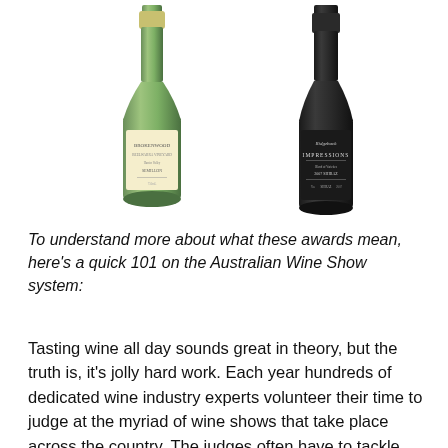[Figure (photo): Two wine bottles side by side. Left: Brokenwood Beelwarra Vineyard white wine in a green glass bottle with a cream label. Right: Ridgeback Impressions 2007 Shiraz red wine in a dark bottle with a black label.]
To understand more about what these awards mean, here's a quick 101 on the Australian Wine Show system:
Tasting wine all day sounds great in theory, but the truth is, it's jolly hard work. Each year hundreds of dedicated wine industry experts volunteer their time to judge at the myriad of wine shows that take place across the country. The judges often have to tackle more than 100 wines a day for days in a row. Their